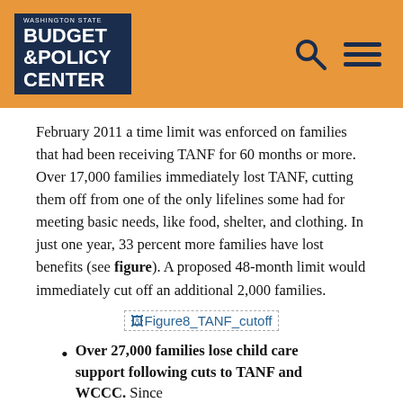Washington State Budget & Policy Center
February 2011 a time limit was enforced on families that had been receiving TANF for 60 months or more. Over 17,000 families immediately lost TANF, cutting them off from one of the only lifelines some had for meeting basic needs, like food, shelter, and clothing. In just one year, 33 percent more families have lost benefits (see figure). A proposed 48-month limit would immediately cut off an additional 2,000 families.
[Figure (other): Placeholder image labeled Figure8_TANF_cutoff]
Over 27,000 families lose child care support following cuts to TANF and WCCC. Since